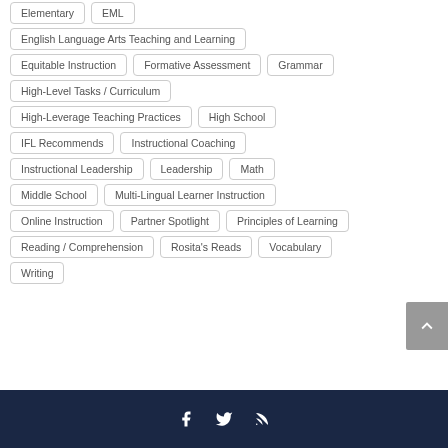Elementary
EML
English Language Arts Teaching and Learning
Equitable Instruction
Formative Assessment
Grammar
High-Level Tasks / Curriculum
High-Leverage Teaching Practices
High School
IFL Recommends
Instructional Coaching
Instructional Leadership
Leadership
Math
Middle School
Multi-Lingual Learner Instruction
Online Instruction
Partner Spotlight
Principles of Learning
Reading / Comprehension
Rosita's Reads
Vocabulary
Writing
Social media icons: Facebook, Twitter, RSS